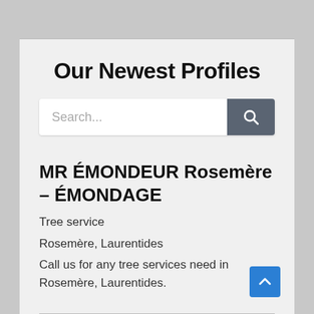Our Newest Profiles
[Figure (other): Search bar with text input and magnifying glass button]
MR ÉMONDEUR Rosemère – ÉMONDAGE
Tree service
Rosemère, Laurentides
Call us for any tree services need in Rosemère, Laurentides.